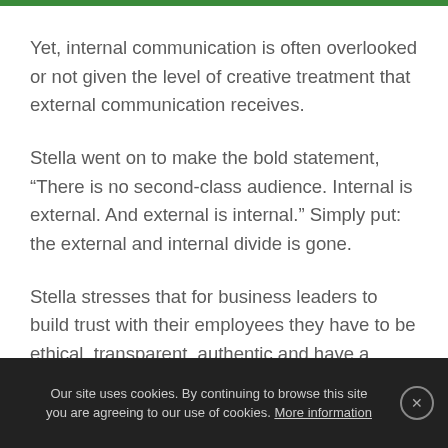Yet, internal communication is often overlooked or not given the level of creative treatment that external communication receives.
Stella went on to make the bold statement, “There is no second-class audience. Internal is external. And external is internal.” Simply put: the external and internal divide is gone.
Stella stresses that for business leaders to build trust with their employees they have to be ethical, transparent, authentic and have a purpose. So, how do we harness the power of the employee voice to
Our site uses cookies. By continuing to browse this site you are agreeing to our use of cookies. More information